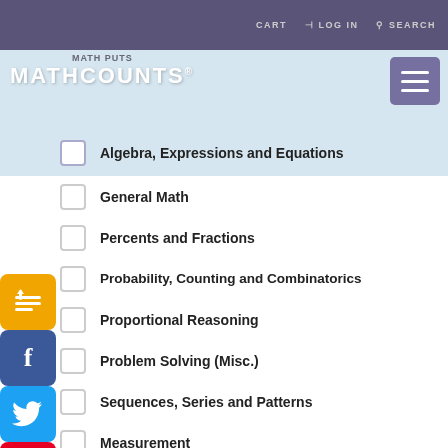CART   LOG IN   SEARCH
MATHCOUNTS
Algebra, Expressions and Equations
General Math
Percents and Fractions
Probability, Counting and Combinatorics
Proportional Reasoning
Problem Solving (Misc.)
Sequences, Series and Patterns
Measurement
Number Theory
Plane Geometry
Statistics and Data
CCSS (COMMON CORE STATE STANDARD)
6.NS.1
DIFFICULTY